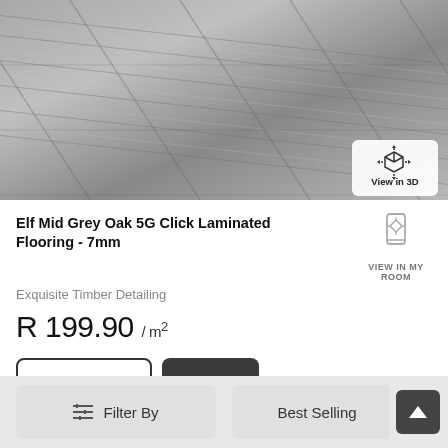[Figure (photo): Grey oak laminate flooring texture showing diagonal wood planks in grey tones with a 'View in 3D' button overlay in the bottom-right corner]
Elf Mid Grey Oak 5G Click Laminated Flooring - 7mm
Exquisite Timber Detailing
R 199.90 / m²
View Product →
Add to Cart
≡ Filter By
Best Selling